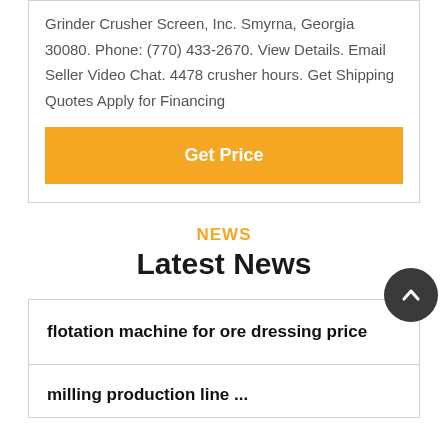Grinder Crusher Screen, Inc. Smyrna, Georgia 30080. Phone: (770) 433-2670. View Details. Email Seller Video Chat. 4478 crusher hours. Get Shipping Quotes Apply for Financing
Get Price
NEWS
Latest News
flotation machine for ore dressing price
milling production line ...